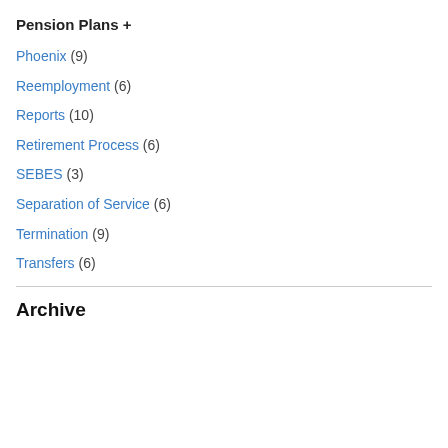Pension Plans +
Phoenix (9)
Reemployment (6)
Reports (10)
Retirement Process (6)
SEBES (3)
Separation of Service (6)
Termination (9)
Transfers (6)
Archive